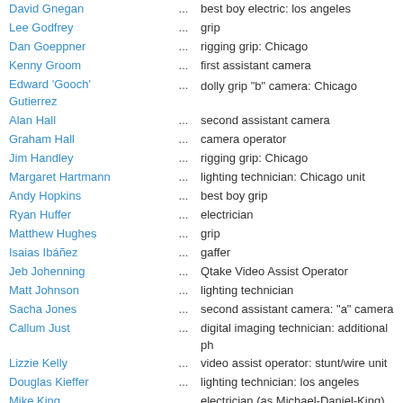David Gnegan ... best boy electric: los angeles
Lee Godfrey ... grip
Dan Goeppner ... rigging grip: Chicago
Kenny Groom ... first assistant camera
Edward 'Gooch' Gutierrez ... dolly grip "b" camera: Chicago
Alan Hall ... second assistant camera
Graham Hall ... camera operator
Jim Handley ... rigging grip: Chicago
Margaret Hartmann ... lighting technician: Chicago unit
Andy Hopkins ... best boy grip
Ryan Huffer ... electrician
Matthew Hughes ... grip
Isaias Ibáñez ... gaffer
Jeb Johenning ... Qtake Video Assist Operator
Matt Johnson ... lighting technician
Sacha Jones ... second assistant camera: "a" camera
Callum Just ... digital imaging technician: additional ph
Lizzie Kelly ... video assist operator: stunt/wire unit
Douglas Kieffer ... lighting technician: los angeles
Mike King ... electrician (as Michael-Daniel-King)
Wayne King ... gaffer: visual effects element unit
Trevor Kodat ... electrician
Mitch Koepp ... second assistant camera: Chicago
Sergi Lafuente ... video assistant operator: Spain Unit